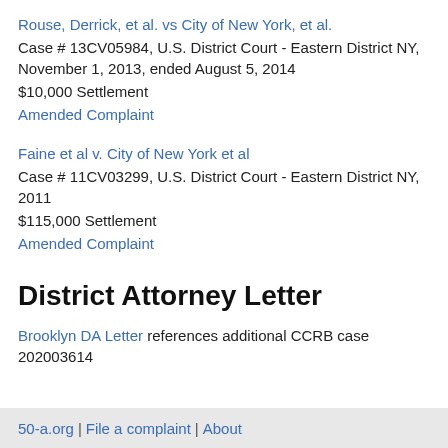Rouse, Derrick, et al. vs City of New York, et al.
Case # 13CV05984, U.S. District Court - Eastern District NY, November 1, 2013, ended August 5, 2014
$10,000 Settlement
Amended Complaint
Faine et al v. City of New York et al
Case # 11CV03299, U.S. District Court - Eastern District NY, 2011
$115,000 Settlement
Amended Complaint
District Attorney Letter
Brooklyn DA Letter references additional CCRB case 202003614
50-a.org | File a complaint | About